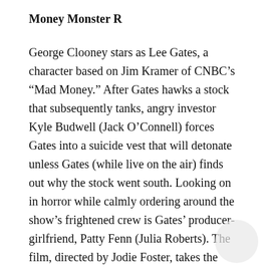Money Monster R
George Clooney stars as Lee Gates, a character based on Jim Kramer of CNBC’s “Mad Money.” After Gates hawks a stock that subsequently tanks, angry investor Kyle Budwell (Jack O’Connell) forces Gates into a suicide vest that will detonate unless Gates (while live on the air) finds out why the stock went south. Looking on in horror while calmly ordering around the show’s frightened crew is Gates’ producer-girlfriend, Patty Fenn (Julia Roberts). The film, directed by Jodie Foster, takes the one-percenters to task in every possible way. Hell hath no fury like an investor scorned.